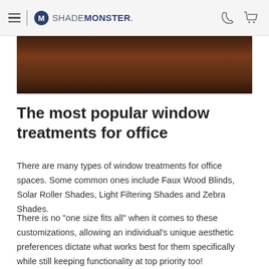SHADEMONSTER.
[Figure (photo): Partial view of a dark wood surface or window treatment, brown tones, viewed from below or close-up.]
The most popular window treatments for office
There are many types of window treatments for office spaces. Some common ones include Faux Wood Blinds, Solar Roller Shades, Light Filtering Shades and Zebra Shades.
There is no "one size fits all" when it comes to these customizations, allowing an individual's unique aesthetic preferences dictate what works best for them specifically while still keeping functionality at top priority too!